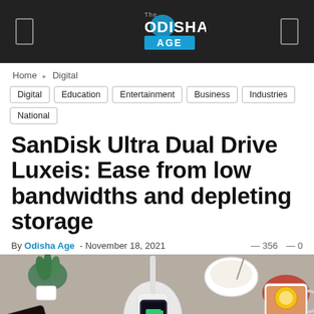The Odisha Age
Home › Digital
Digital
Education
Entertainment
Business
Industries
National
SanDisk Ultra Dual Drive Luxeis: Ease from low bandwidths and depleting storage
By Odisha Age - November 18, 2021 · 356 · 0
[Figure (photo): Overhead flatlay photo of a white wireless charging pad with a phone showing 100% CHARGING, a small potted cactus plant, a bowl of cream, and a cup of lemon tea on a gray surface]